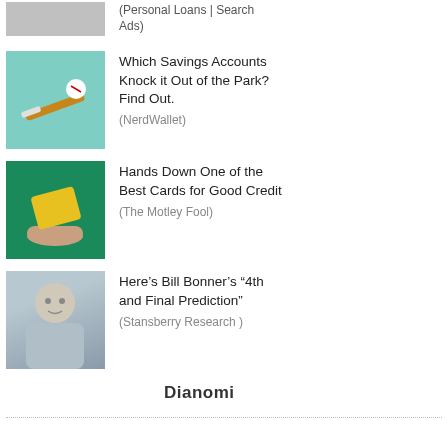[Figure (photo): Gray/neutral colored image, appears to be filing cabinets or office furniture]
(Personal Loans | Search Ads)
[Figure (illustration): Teal background illustration with a baseball bat hitting a ball]
Which Savings Accounts Knock it Out of the Park? Find Out.
(NerdWallet)
[Figure (illustration): Green background illustration with a hand holding a yellow credit card]
Hands Down One of the Best Cards for Good Credit
(The Motley Fool)
[Figure (photo): Photo of an older man, Bill Bonner, wearing a light blue shirt]
Here's Bill Bonner's “4th and Final Prediction”
(Stansberry Research )
[Figure (logo): Dianomi logo in bold text]